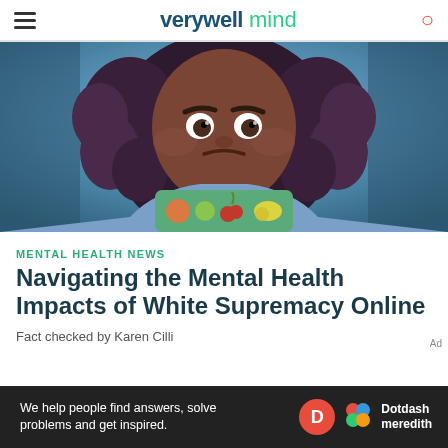verywell mind
[Figure (illustration): Illustrated portrait of a sad dark-skinned girl with curly hair, wearing a blue sweater, holding a glowing tablet/device with colorful app icons on it, set against a cool blue background.]
MENTAL HEALTH NEWS
Navigating the Mental Health Impacts of White Supremacy Online
Fact checked by Karen Cilli
[Figure (other): Dotdash Meredith advertisement banner: 'We help people find answers, solve problems and get inspired.' with D logo and Dotdash Meredith branding on dark background.]